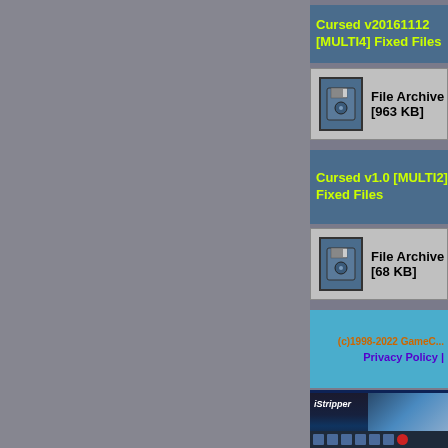Cursed v20161112 [MULTI4] Fixed Files
File Archive [963 KB]
Cursed v1.0 [MULTI2] Fixed Files
File Archive [68 KB]
(c)1998-2022 GameC... Privacy Policy |
[Figure (screenshot): iStripper advertisement banner with Windows 10 taskbar at bottom]